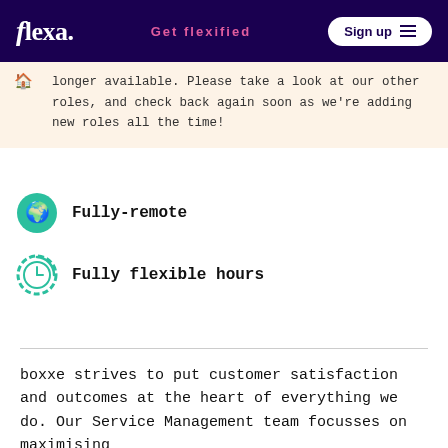flexa. | Get flexified | Sign up
longer available. Please take a look at our other roles, and check back again soon as we’re adding new roles all the time!
Fully-remote
Fully flexible hours
boxxe strives to put customer satisfaction and outcomes at the heart of everything we do. Our Service Management team focusses on maximising